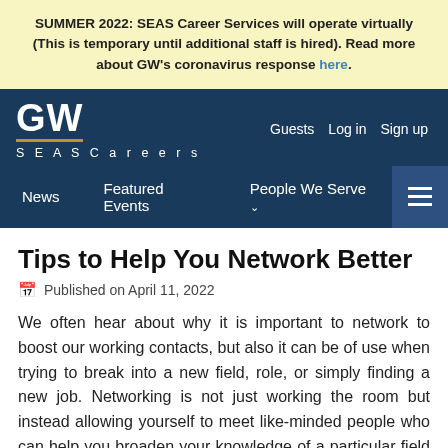SUMMER 2022: SEAS Career Services will operate virtually (This is temporary until additional staff is hired). Read more about GW's coronavirus response here.
GW SEAS Careers — Guests | Log in | Sign up
News | Featured Events | People We Serve
Tips to Help You Network Better
Published on April 11, 2022
We often hear about why it is important to network to boost our working contacts, but also it can be of use when trying to break into a new field, role, or simply finding a new job. Networking is not just working the room but instead allowing yourself to meet like-minded people who can help you broaden your knowledge of a particular field or the company you wish to work for.